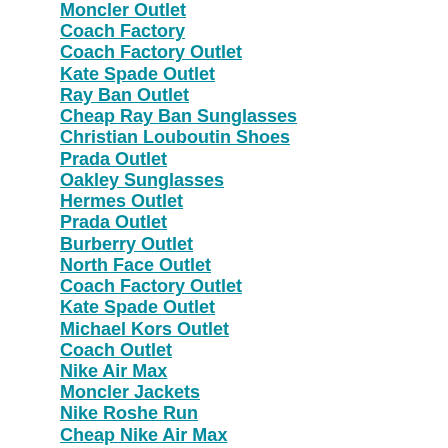Moncler Outlet
Coach Factory
Coach Factory Outlet
Kate Spade Outlet
Ray Ban Outlet
Cheap Ray Ban Sunglasses
Christian Louboutin Shoes
Prada Outlet
Oakley Sunglasses
Hermes Outlet
Prada Outlet
Burberry Outlet
North Face Outlet
Coach Factory Outlet
Kate Spade Outlet
Michael Kors Outlet
Coach Outlet
Nike Air Max
Moncler Jackets
Nike Roshe Run
Cheap Nike Air Max
Buty Nike Air Max
Nike Air Max Damskie
Nike Air Max
Red Bottom Shoes
Christian Louboutin Outlet
Balenciaga Outlet
Balenciaga Handbags
Kate Spade Outlet
Toms Shoes
Hermes Belt
Louis Vuitton Outlet
North Face Outlet Store